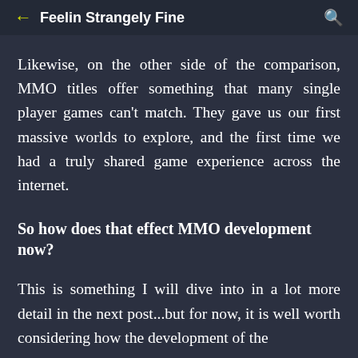← Feelin Strangely Fine 🔍
Likewise, on the other side of the comparison, MMO titles offer something that many single player games can't match. They gave us our first massive worlds to explore, and the first time we had a truly shared game experience across the internet.
So how does that effect MMO development now?
This is something I will dive into in a lot more detail in the next post...but for now, it is well worth considering how the development of the